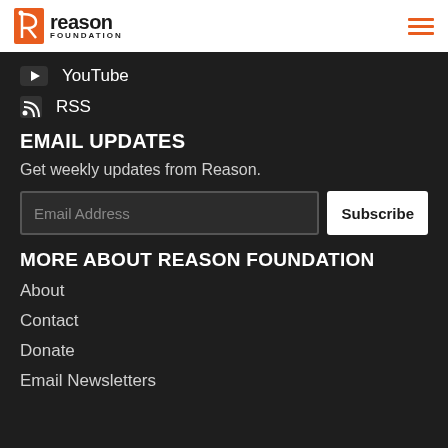Reason Foundation
YouTube
RSS
EMAIL UPDATES
Get weekly updates from Reason.
MORE ABOUT REASON FOUNDATION
About
Contact
Donate
Email Newsletters